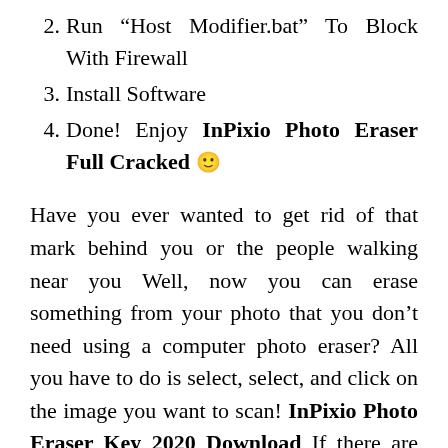2. Run “Host Modifier.bat” To Block With Firewall
3. Install Software
4. Done! Enjoy InPixio Photo Eraser Full Cracked 🙂
Have you ever wanted to get rid of that mark behind you or the people walking near you Well, now you can erase something from your photo that you don’t need using a computer photo eraser? All you have to do is select, select, and click on the image you want to scan! InPixio Photo Eraser Key 2020 Download If there are soft marks on the back, use the duplicator to match the returned colors for a smooth and perfect look. No one will